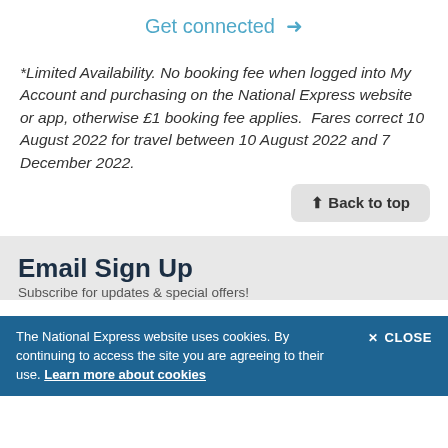Get connected →
*Limited Availability. No booking fee when logged into My Account and purchasing on the National Express website or app, otherwise £1 booking fee applies.  Fares correct 10 August 2022 for travel between 10 August 2022 and 7 December 2022.
⬆ Back to top
Email Sign Up
Subscribe for updates & special offers!
The National Express website uses cookies. By continuing to access the site you are agreeing to their use. Learn more about cookies
✕ CLOSE